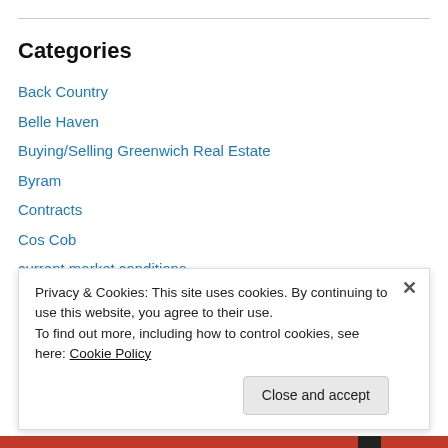Categories
Back Country
Belle Haven
Buying/Selling Greenwich Real Estate
Byram
Contracts
Cos Cob
current market conditions
Downtown Greenwich
Foreclosure
Greenwich Politics
Privacy & Cookies: This site uses cookies. By continuing to use this website, you agree to their use.
To find out more, including how to control cookies, see here: Cookie Policy